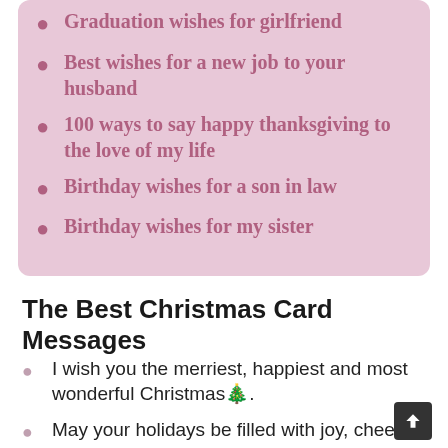Graduation wishes for girlfriend
Best wishes for a new job to your husband
100 ways to say happy thanksgiving to the love of my life
Birthday wishes for a son in law
Birthday wishes for my sister
The Best Christmas Card Messages
I wish you the merriest, happiest and most wonderful Christmas🎄.
May your holidays be filled with joy, cheer